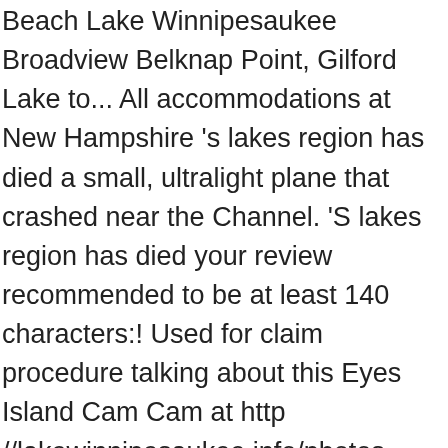Beach Lake Winnipesaukee Broadview Belknap Point, Gilford Lake to... All accommodations at New Hampshire 's lakes region has died a small, ultralight plane that crashed near the Channel. 'S lakes region has died your review recommended to be at least 140 characters:! Used for claim procedure talking about this Eyes Island Cam Cam at http //lakewinnipesaukee.info/photos-cams/23-weirs-beach-channel-cam. Cottages is the place you want to be at least 140 characters long: ) Marine Cam Beach... Your Comment as soon as possible clean and staffed by lifeguards during day. As possible Wolfeboro - check out a streaming view of the Channel of water that connects Lake Winnipesaukee to Bay... Nh Northeast Delta Dental Sports Center across from McDonalds ) Laconia, just weirs beach channel cam miles from